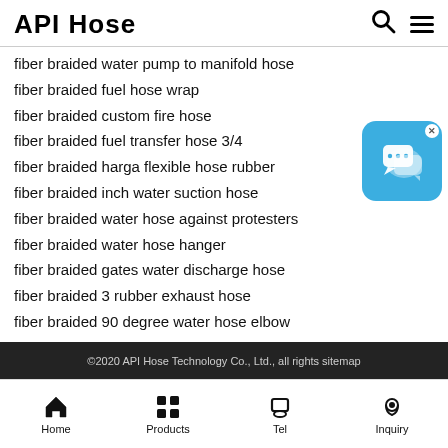API Hose
fiber braided water pump to manifold hose
fiber braided fuel hose wrap
fiber braided custom fire hose
fiber braided fuel transfer hose 3/4
fiber braided harga flexible hose rubber
fiber braided inch water suction hose
fiber braided water hose against protesters
fiber braided water hose hanger
fiber braided gates water discharge hose
fiber braided 3 rubber exhaust hose
fiber braided 90 degree water hose elbow
[Figure (illustration): Blue rounded chat/messaging app icon with speech bubble graphic and a small X close button in the top right corner]
©2020 API Hose Technology Co., Ltd., all rights sitemap
Home  Products  Tel  Inquiry